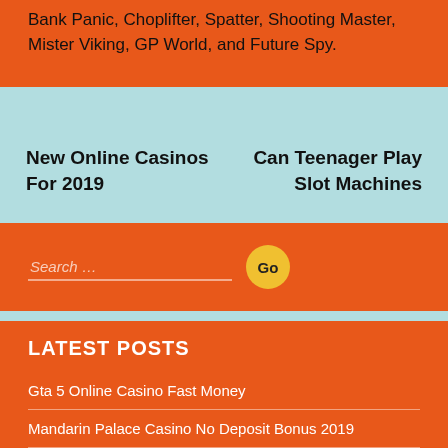Bank Panic, Choplifter, Spatter, Shooting Master, Mister Viking, GP World, and Future Spy.
New Online Casinos For 2019
Can Teenager Play Slot Machines
Search …
LATEST POSTS
Gta 5 Online Casino Fast Money
Mandarin Palace Casino No Deposit Bonus 2019